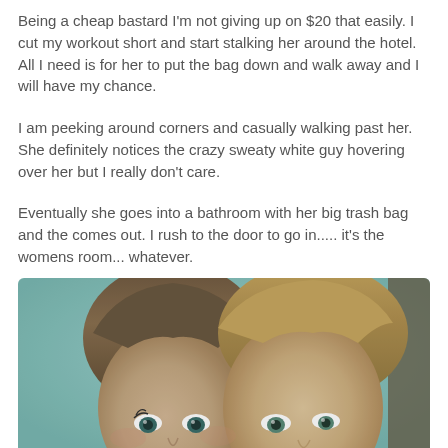Being a cheap bastard I'm not giving up on $20 that easily.  I cut my workout short and start stalking her around the hotel.  All I need is for her to put the bag down and walk away and I will have my chance.
I am peeking around corners and casually walking past her.  She definitely notices the crazy sweaty white guy hovering over her but I really don't care.
Eventually she goes into a bathroom with her big trash bag and the comes out.  I rush to the door to go in..... it's the womens room... whatever.
[Figure (photo): Close-up photo of two people with brown hair side by side, teal/mint background visible, faces shown from nose up with eyes visible.]